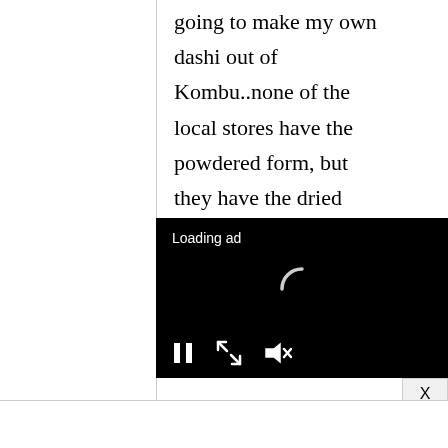going to make my own dashi out of Kombu..none of the local stores have the powdered form, but they have the dried Kombu...I will also try
[Figure (screenshot): Video ad player overlay with black background showing 'Loading ad' text, a spinning loading indicator, and media controls (pause, fullscreen, mute) at the bottom.]